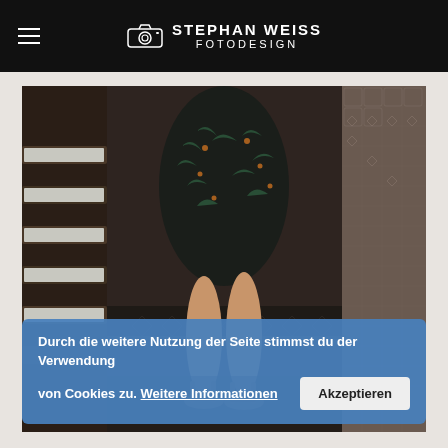STEPHAN WEISS FOTODESIGN
[Figure (photo): Woman standing on decorative tiled stairs wearing a dark floral dress and strappy sandals, viewed from waist down]
Durch die weitere Nutzung der Seite stimmst du der Verwendung von Cookies zu. Weitere Informationen   Akzeptieren